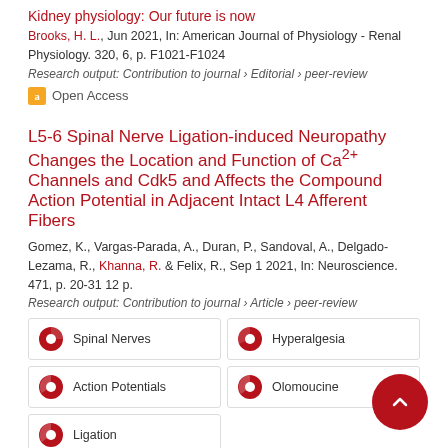Kidney physiology: Our future is now
Brooks, H. L., Jun 2021, In: American Journal of Physiology - Renal Physiology. 320, 6, p. F1021-F1024
Research output: Contribution to journal › Editorial › peer-review
Open Access
L5-6 Spinal Nerve Ligation-induced Neuropathy Changes the Location and Function of Ca2+ Channels and Cdk5 and Affects the Compound Action Potential in Adjacent Intact L4 Afferent Fibers
Gomez, K., Vargas-Parada, A., Duran, P., Sandoval, A., Delgado-Lezama, R., Khanna, R. & Felix, R., Sep 1 2021, In: Neuroscience. 471, p. 20-31 12 p.
Research output: Contribution to journal › Article › peer-review
Spinal Nerves
Hyperalgesia
Action Potentials
Olomoucine
Ligation